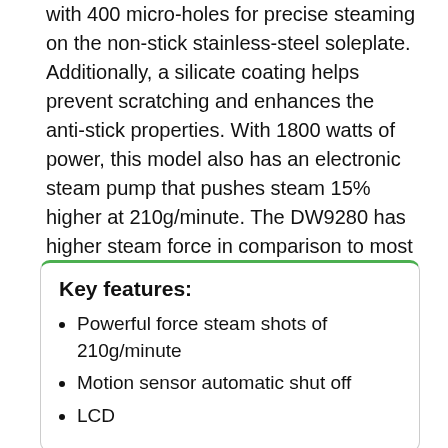with 400 micro-holes for precise steaming on the non-stick stainless-steel soleplate. Additionally, a silicate coating helps prevent scratching and enhances the anti-stick properties. With 1800 watts of power, this model also has an electronic steam pump that pushes steam 15% higher at 210g/minute. The DW9280 has higher steam force in comparison to most other models. It also has anti-calcium, anti-scaling, self-clean, and vertical steaming functions.
Key features:
Powerful force steam shots of 210g/minute
Motion sensor automatic shut off
LCD